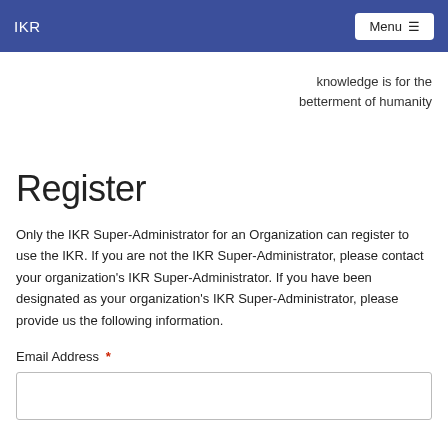IKR    Menu ☰
knowledge is for the betterment of humanity
Register
Only the IKR Super-Administrator for an Organization can register to use the IKR. If you are not the IKR Super-Administrator, please contact your organization's IKR Super-Administrator. If you have been designated as your organization's IKR Super-Administrator, please provide us the following information.
Email Address *